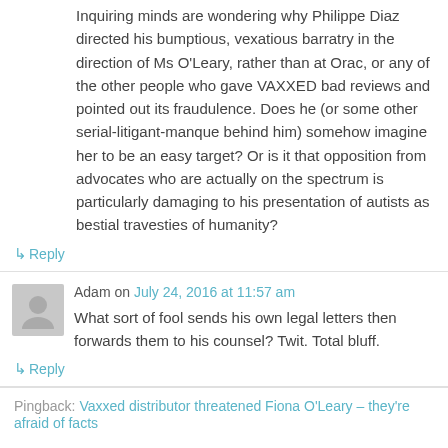Inquiring minds are wondering why Philippe Diaz directed his bumptious, vexatious barratry in the direction of Ms O'Leary, rather than at Orac, or any of the other people who gave VAXXED bad reviews and pointed out its fraudulence. Does he (or some other serial-litigant-manque behind him) somehow imagine her to be an easy target? Or is it that opposition from advocates who are actually on the spectrum is particularly damaging to his presentation of autists as bestial travesties of humanity?
↳ Reply
Adam on July 24, 2016 at 11:57 am
What sort of fool sends his own legal letters then forwards them to his counsel? Twit. Total bluff.
↳ Reply
Pingback: Vaxxed distributor threatened Fiona O'Leary – they're afraid of facts